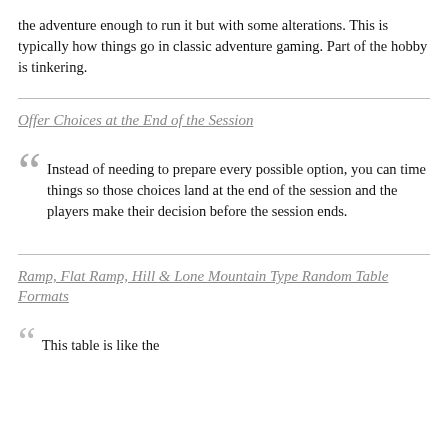the adventure enough to run it but with some alterations. This is typically how things go in classic adventure gaming. Part of the hobby is tinkering.
Offer Choices at the End of the Session
Instead of needing to prepare every possible option, you can time things so those choices land at the end of the session and the players make their decision before the session ends.
Ramp, Flat Ramp, Hill & Lone Mountain Type Random Table Formats
This table is like the...